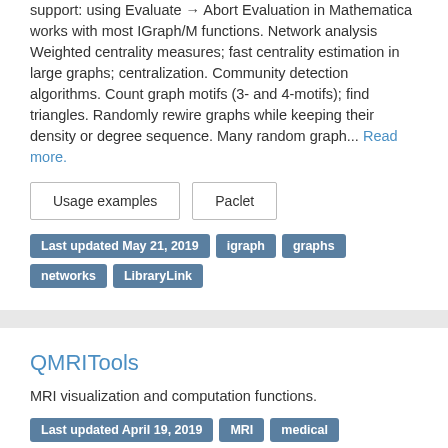support: using Evaluate → Abort Evaluation in Mathematica works with most IGraph/M functions. Network analysis Weighted centrality measures; fast centrality estimation in large graphs; centralization. Community detection algorithms. Count graph motifs (3- and 4-motifs); find triangles. Randomly rewire graphs while keeping their density or degree sequence. Many random graph... Read more.
Usage examples
Paclet
Last updated May 21, 2019  igraph  graphs  networks  LibraryLink
QMRITools
MRI visualization and computation functions.
Last updated April 19, 2019  MRI  medical
DynPac